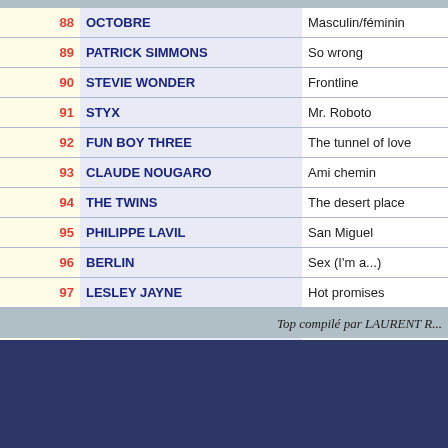| # | Artist | Song |
| --- | --- | --- |
| 88 | OCTOBRE | Masculin/féminin |
| 89 | PATRICK SIMMONS | So wrong |
| 90 | STEVIE WONDER | Frontline |
| 91 | STYX | Mr. Roboto |
| 92 | FUN BOY THREE | The tunnel of love |
| 93 | CLAUDE NOUGARO | Ami chemin |
| 94 | THE TWINS | The desert place |
| 95 | PHILIPPE LAVIL | San Miguel |
| 96 | BERLIN | Sex (I'm a...) |
| 97 | LESLEY JAYNE | Hot promises |
| 98 | FRANK DANA | Lovers |
| 99 | LES FORBANS | Chante |
| 100 | LIONEL RICHIE | You are |
Top compilé par LAURENT R...